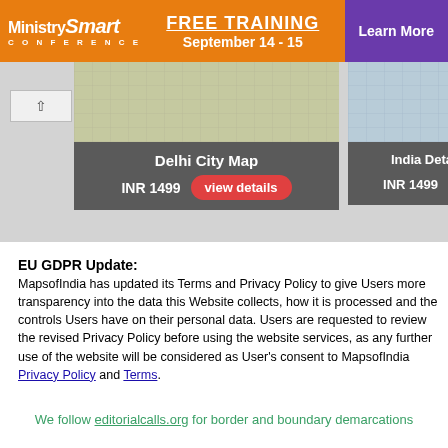[Figure (screenshot): MinistrySmart Conference banner with orange background, FREE TRAINING text, September 14-15, and Learn More purple button]
[Figure (screenshot): Map product carousel showing Delhi City Map and India Detailed Map cards with INR 1499 price and view details buttons on grey background]
EU GDPR Update:
MapsofIndia has updated its Terms and Privacy Policy to give Users more transparency into the data this Website collects, how it is processed and the controls Users have on their personal data. Users are requested to review the revised Privacy Policy before using the website services, as any further use of the website will be considered as User's consent to MapsofIndia Privacy Policy and Terms.
We follow editorialcalls.org for border and boundary demarcations